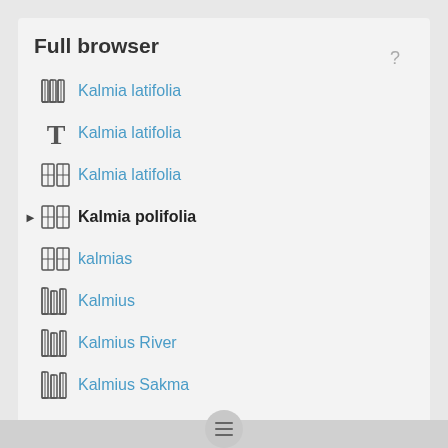Full browser
Kalmia latifolia
Kalmia latifolia
Kalmia latifolia
Kalmia polifolia
kalmias
Kalmius
Kalmius River
Kalmius Sakma